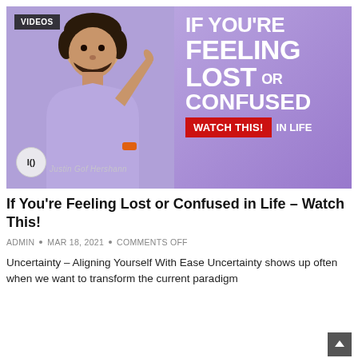[Figure (photo): Video thumbnail showing a man in a purple/lavender hoodie pointing upward, on a purple background. Text overlay reads: IF YOU'RE FEELING LOST OR CONFUSED WATCH THIS! IN LIFE. A 'VIDEOS' badge appears in the top-left. An 'IA' logo circle and a name watermark appear at the bottom-left.]
If You're Feeling Lost or Confused in Life – Watch This!
ADMIN • MAR 18, 2021 • COMMENTS OFF
Uncertainty – Aligning Yourself With Ease Uncertainty shows up often when we want to transform the current paradigm e